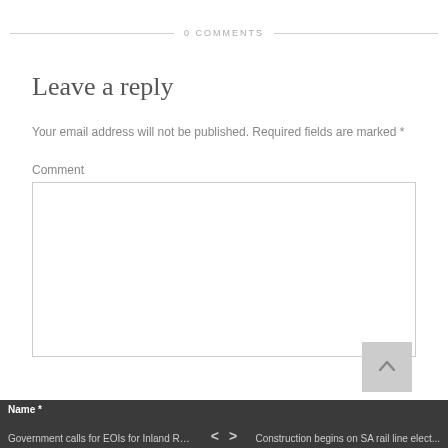0 COMMENTS
Leave a reply
Your email address will not be published. Required fields are marked *
Comment
[Figure (screenshot): Empty comment text area input box]
Name *  |  Government calls for EOIs for Inland Rai...  <  >  Construction begins on SA rail line elect...